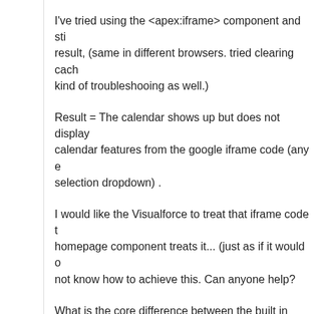I've tried using the <apex:iframe> component and sti result, (same in different browsers. tried clearing cach kind of troubleshooing as well.)

Result = The calendar shows up but does not display calendar features from the google iframe code (any e selection dropdown) .

I would like the Visualforce to treat that iframe code t homepage component treats it... (just as if it would o not know how to achieve this. Can anyone help?

What is the core difference between the built in 'hom (for a HTML section) and trying to create that in a ne

is there an apex component I am missing <apex:miss
February 23, 2010   Reply   Like 0   Follow
NathanSp
I have the same issue. Has anyone come up with a